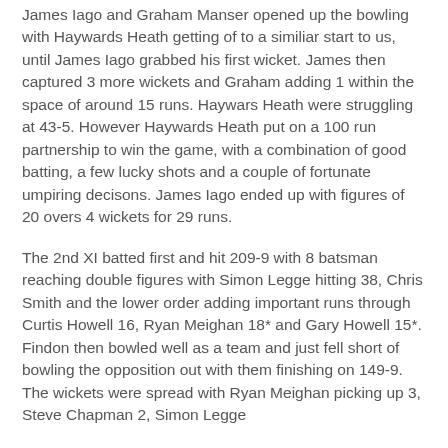James Iago and Graham Manser opened up the bowling with Haywards Heath getting of to a similiar start to us, until James Iago grabbed his first wicket. James then captured 3 more wickets and Graham adding 1 within the space of around 15 runs. Haywars Heath were struggling at 43-5. However Haywards Heath put on a 100 run partnership to win the game, with a combination of good batting, a few lucky shots and a couple of fortunate umpiring decisons. James Iago ended up with figures of 20 overs 4 wickets for 29 runs.
The 2nd XI batted first and hit 209-9 with 8 batsman reaching double figures with Simon Legge hitting 38, Chris Smith and the lower order adding important runs through Curtis Howell 16, Ryan Meighan 18* and Gary Howell 15*. Findon then bowled well as a team and just fell short of bowling the opposition out with them finishing on 149-9. The wickets were spread with Ryan Meighan picking up 3, Steve Chapman 2, Simon Legge